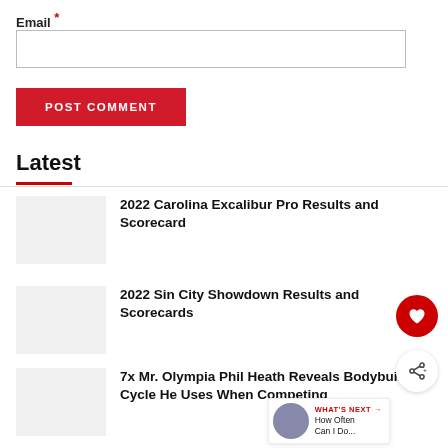Email *
POST COMMENT
Latest
2022 Carolina Excalibur Pro Results and Scorecard
2022 Sin City Showdown Results and Scorecards
7x Mr. Olympia Phil Heath Reveals Bodybuilding Cycle He Uses When Competing
WHAT'S NEXT → How Often Can I Do...